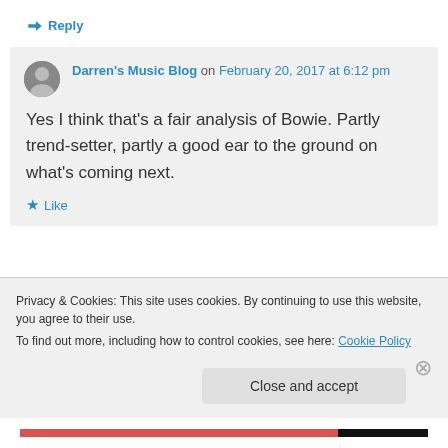↳ Reply
Darren's Music Blog on February 20, 2017 at 6:12 pm
Yes I think that's a fair analysis of Bowie. Partly trend-setter, partly a good ear to the ground on what's coming next.
★ Like
Privacy & Cookies: This site uses cookies. By continuing to use this website, you agree to their use.
To find out more, including how to control cookies, see here: Cookie Policy
Close and accept